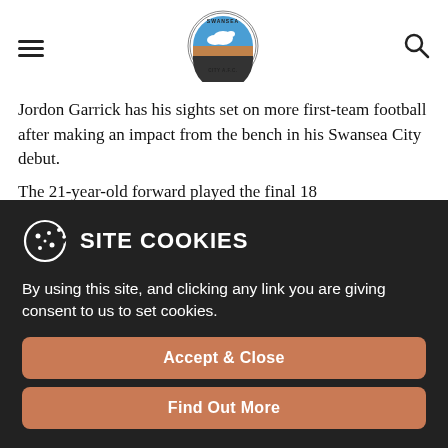[Figure (logo): Swansea City AFC circular badge logo with swan and blue/brown colors]
Jordon Garrick has his sights set on more first-team football after making an impact from the bench in his Swansea City debut.
The 21-year-old forward played the final 18
SITE COOKIES
By using this site, and clicking any link you are giving consent to us to set cookies.
Accept & Close
Find Out More